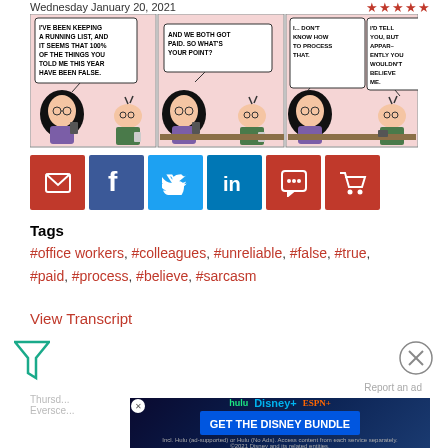Wednesday January 20, 2021
Still Get Paid
[Figure (illustration): Dilbert comic strip with three panels: Panel 1 - character with big hair says 'I'VE BEEN KEEPING A RUNNING LIST, AND IT SEEMS THAT 100% OF THE THINGS YOU TOLD ME THIS YEAR HAVE BEEN FALSE.' Panel 2 - Dilbert responds 'AND WE BOTH GOT PAID. SO WHAT'S YOUR POINT?' Panel 3 - first character says 'I... DON'T KNOW HOW TO PROCESS THAT.' and Dilbert says 'I'D TELL YOU, BUT APPAR–ENTLY YOU WOULDN'T BELIEVE ME.']
[Figure (infographic): Social sharing buttons: email (red), facebook (dark blue), twitter (light blue), linkedin (blue), comment (red), cart (red)]
Tags
#office workers, #colleagues, #unreliable, #false, #true, #paid, #process, #believe, #sarcasm
View Transcript
[Figure (illustration): Filter/funnel icon in teal/green color]
[Figure (illustration): Close/X button circle on right side]
Report an ad
[Figure (screenshot): Advertisement banner: Hulu Disney+ ESPN+ GET THE DISNEY BUNDLE - Incl. Hulu (ad-supported) or Hulu (No Ads). Access content from each service separately. ©2021 Disney and its related entities.]